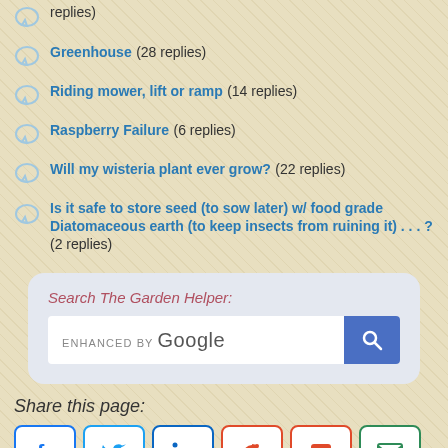replies)
Greenhouse  (28 replies)
Riding mower, lift or ramp  (14 replies)
Raspberry Failure  (6 replies)
Will my wisteria plant ever grow?  (22 replies)
Is it safe to store seed (to sow later) w/ food grade Diatomaceous earth (to keep insects from ruining it) . . . ?  (2 replies)
[Figure (screenshot): Search box for The Garden Helper with Google enhanced search and search button]
Share this page:
[Figure (infographic): Social share buttons: Facebook, Twitter, LinkedIn, Reddit, Pocket, Email]